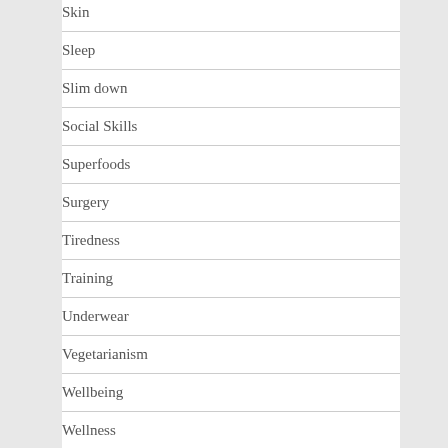Skin
Sleep
Slim down
Social Skills
Superfoods
Surgery
Tiredness
Training
Underwear
Vegetarianism
Wellbeing
Wellness